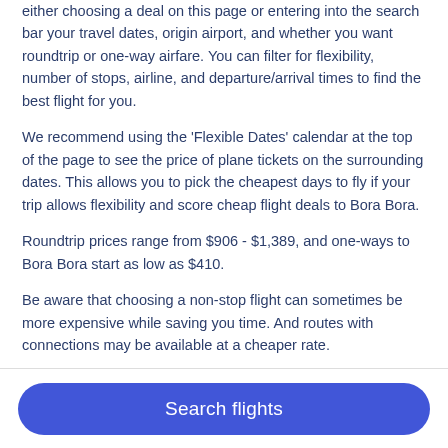either choosing a deal on this page or entering into the search bar your travel dates, origin airport, and whether you want roundtrip or one-way airfare. You can filter for flexibility, number of stops, airline, and departure/arrival times to find the best flight for you.
We recommend using the 'Flexible Dates' calendar at the top of the page to see the price of plane tickets on the surrounding dates. This allows you to pick the cheapest days to fly if your trip allows flexibility and score cheap flight deals to Bora Bora.
Roundtrip prices range from $906 - $1,389, and one-ways to Bora Bora start as low as $410.
Be aware that choosing a non-stop flight can sometimes be more expensive while saving you time. And routes with connections may be available at a cheaper rate.
Airlines that fly to Bora Bora (BOB)
You have several options for which airline you choose to travel with to Bora Bora. There are 10 airlines flying into BOB: Alaska Airlines.
Cheap plane tickets may be available from different airlines at
Search flights